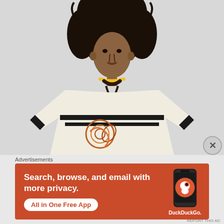[Figure (photo): Fashion model with voluminous natural hair wearing a white/cream oversized kaftan-style dress with black trim at cuffs and waist, a large silver medallion necklace with yellow and dark beads, and colorful painted artwork on the lower garment. Light gray background.]
Advertisements
[Figure (infographic): DuckDuckGo advertisement banner on orange/red background. Text reads: 'Search, browse, and email with more privacy. All in One Free App'. Shows a phone with DuckDuckGo logo and branding.]